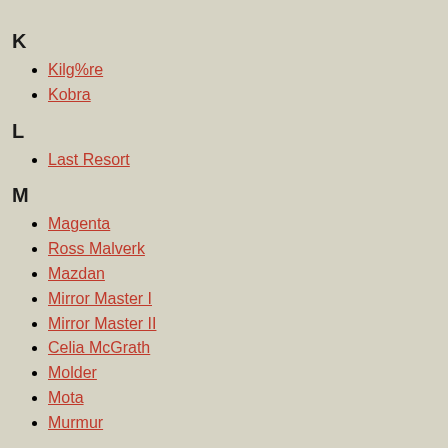K
Kilg%re
Kobra
L
Last Resort
M
Magenta
Ross Malverk
Mazdan
Mirror Master I
Mirror Master II
Celia McGrath
Molder
Mota
Murmur
N
Neron
P